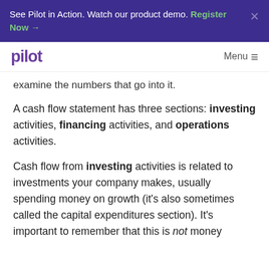See Pilot in Action. Watch our product demo. Register Now →
pilot   Menu
examine the numbers that go into it.
A cash flow statement has three sections: investing activities, financing activities, and operations activities.
Cash flow from investing activities is related to investments your company makes, usually spending money on growth (it's also sometimes called the capital expenditures section). It's important to remember that this is not money